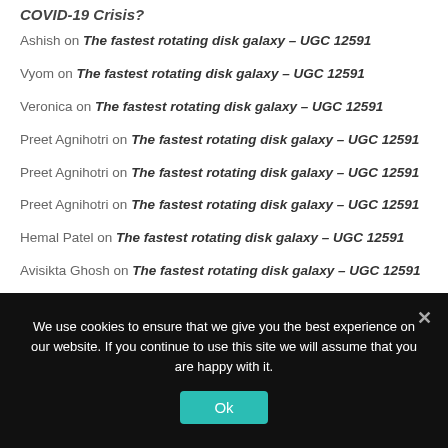COVID-19 Crisis?
Ashish on The fastest rotating disk galaxy – UGC 12591
Vyom on The fastest rotating disk galaxy – UGC 12591
Veronica on The fastest rotating disk galaxy – UGC 12591
Preet Agnihotri on The fastest rotating disk galaxy – UGC 12591
Preet Agnihotri on The fastest rotating disk galaxy – UGC 12591
Preet Agnihotri on The fastest rotating disk galaxy – UGC 12591
Hemal Patel on The fastest rotating disk galaxy – UGC 12591
Avisikta Ghosh on The fastest rotating disk galaxy – UGC 12591
We use cookies to ensure that we give you the best experience on our website. If you continue to use this site we will assume that you are happy with it.